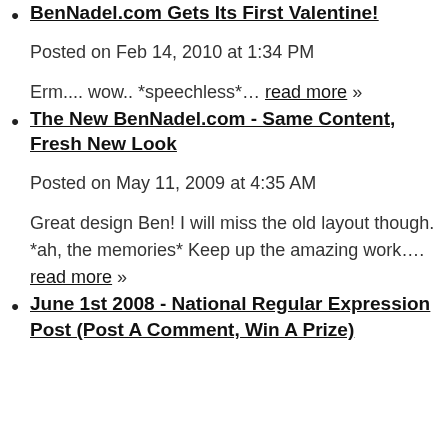BenNadel.com Gets Its First Valentine!
Posted on Feb 14, 2010 at 1:34 PM
Erm.... wow.. *speechless*... read more »
The New BenNadel.com - Same Content, Fresh New Look
Posted on May 11, 2009 at 4:35 AM
Great design Ben! I will miss the old layout though. *ah, the memories* Keep up the amazing work.... read more »
June 1st 2008 - National Regular Expression Post (Post A Comment, Win A Prize)